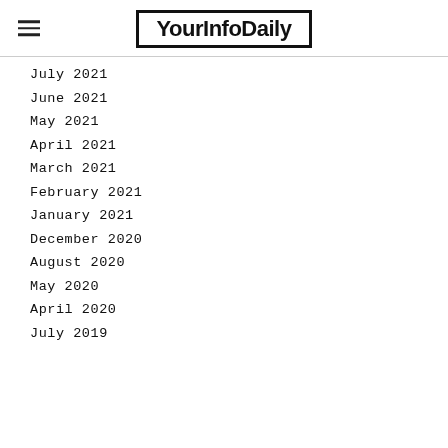YourInfoDaily
July 2021
June 2021
May 2021
April 2021
March 2021
February 2021
January 2021
December 2020
August 2020
May 2020
April 2020
July 2019